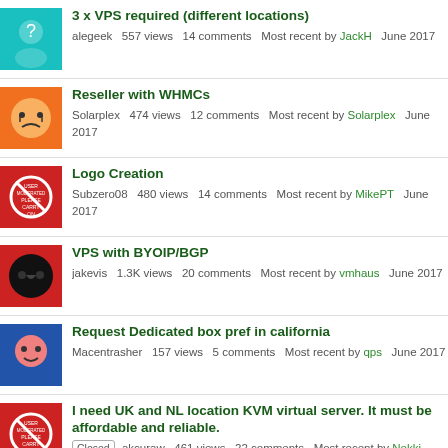3 x VPS required (different locations) | alegeek | 557 views | 14 comments | Most recent by JackH | June 2017
Reseller with WHMCs | Solarplex | 474 views | 12 comments | Most recent by Solarplex | June 2017
Logo Creation | Subzero08 | 480 views | 14 comments | Most recent by MikePT | June 2017
VPS with BYOIP/BGP | jakevis | 1.3K views | 20 comments | Most recent by vmhaus | June 2017
Request Dedicated box pref in california | Macentrasher | 157 views | 5 comments | Most recent by qps | June 2017
I need UK and NL location KVM virtual server. It must be affordable and reliable. | Closed | akcuraw | 461 views | 22 comments | Most recent by Nekki | June 2017
I need a 10Gbps connection Netherlands or Romania location VPS. | turev_1992 | 881 views | 10 comments | Most recent by racksx | June 2017
Looking for advice for renting 100 instances of windows